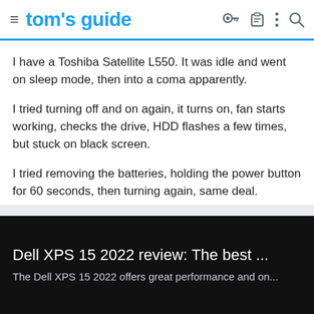tom's guide
I have a Toshiba Satellite L550. It was idle and went on sleep mode, then into a coma apparently.
I tried turning off and on again, it turns on, fan starts working, checks the drive, HDD flashes a few times, but stuck on black screen.
I tried removing the batteries, holding the power button for 60 seconds, then turning again, same deal.
Would appreciate any help. Thanks.
[Figure (screenshot): Promotional banner for Dell XPS 15 2022 review on dark background]
Dell XPS 15 2022 review: The best ...
The Dell XPS 15 2022 offers great performance and on...